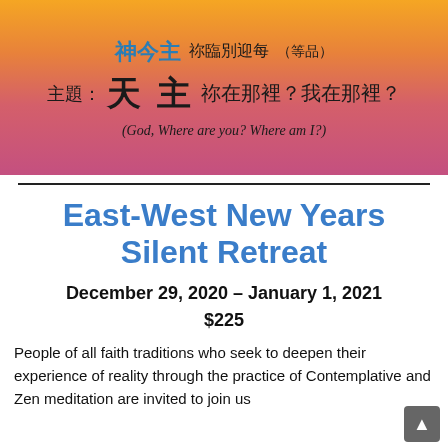[Figure (illustration): Banner image with gradient background (orange to pink/magenta) containing Chinese calligraphic text. Top row has blue Chinese characters followed by dark Chinese characters and parenthetical text. Main row shows '主題：天主 祢在那裡？我在那裡？' in large dark Chinese characters. Below is English subtitle '(God, Where are you? Where am I?)' in italic.]
East-West New Years Silent Retreat
December 29, 2020 – January 1, 2021
$225
People of all faith traditions who seek to deepen their experience of reality through the practice of Contemplative and Zen meditation are invited to join us